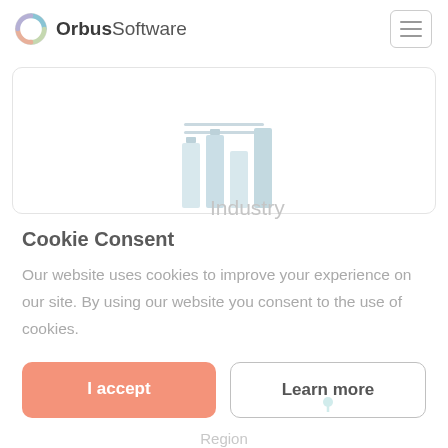[Figure (logo): OrbusSoftware logo with circular gradient icon and text]
[Figure (screenshot): Faded background showing a bar chart card and navigation tabs]
Cookie Consent
Our website uses cookies to improve your experience on our site. By using our website you consent to the use of cookies.
I accept
Learn more
Region